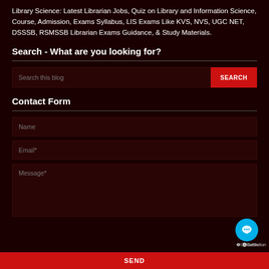Library Science: Latest Librarian Jobs, Quiz on Library and Information Science, Course, Admission, Exams Syllabus, LIS Exams Like KVS, NVS, UGC NET, DSSSB, RSMSSB Librarian Exams Guidance, & Study Materials.
Search - What are you looking for?
Contact Form